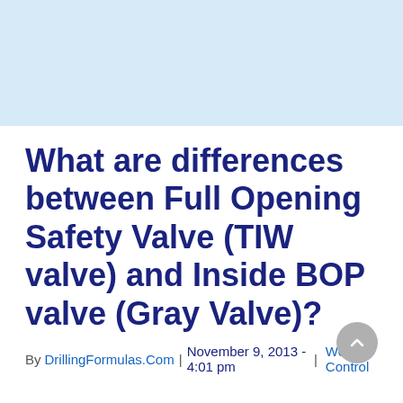[Figure (other): Light blue banner/header image at the top of the page]
What are differences between Full Opening Safety Valve (TIW valve) and Inside BOP valve (Gray Valve)?
By DrillingFormulas.Com | November 9, 2013 - 4:01 pm |Well Control
Post Views: 34,424